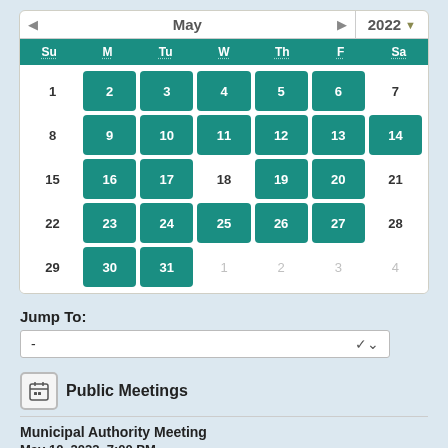[Figure (other): Interactive calendar widget showing May 2022. Teal highlighted dates: 2,3,4,5,6, 9,10,11,12,13,14, 16,17,19,20, 23,24,25,26,27, 30,31. Plain dates: 1,8,15,22,29. Next month grayed: 1,2,3,4.]
Jump To:
-
Public Meetings
Municipal Authority Meeting
May 10, 2022, 7:00 PM
More Details